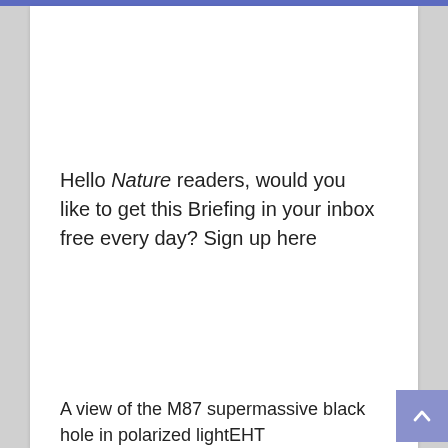Hello Nature readers, would you like to get this Briefing in your inbox free every day? Sign up here
A view of the M87 supermassive black hole in polarized lightEHT Collaboration